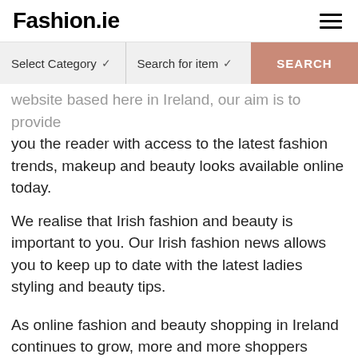Fashion.ie
[Figure (screenshot): Search bar with 'Select Category' dropdown, 'Search for item' dropdown, and a salmon-colored SEARCH button]
website based here in Ireland, our aim is to provide you the reader with access to the latest fashion trends, makeup and beauty looks available online today.
We realise that Irish fashion and beauty is important to you. Our Irish fashion news allows you to keep up to date with the latest ladies styling and beauty tips.
As online fashion and beauty shopping in Ireland continues to grow, more and more shoppers demand the latest fashion and beauty releases for their fashion wardrobe and makeup and beauty